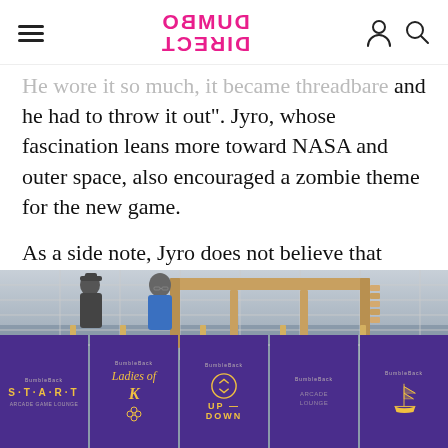DUMBO DIRECT (logo)
He wore it so much, it became threadbare and he had to throw it out". Jyro, whose fascination leans more toward NASA and outer space, also encouraged a zombie theme for the new game.
As a side note, Jyro does not believe that zombies are what we imagine them to be in pop culture.
[Figure (photo): Two men talking outdoors in front of purple branded banners reading S·T·A·R·T, Ladies of K, UP DOWN, and a sailing ship logo. Wooden scaffold structures visible behind the banners.]